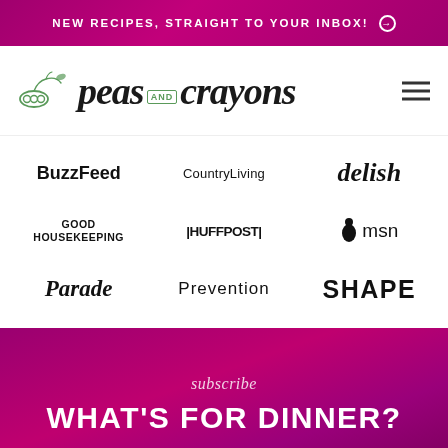NEW RECIPES, STRAIGHT TO YOUR INBOX! →
[Figure (logo): Peas and Crayons logo with decorative pea vine illustration and stylized script text]
[Figure (infographic): Media logos grid: BuzzFeed, CountryLiving, delish, Good Housekeeping, HuffPost, msn, Parade, Prevention, SHAPE]
subscribe
WHAT'S FOR DINNER?
Support Whatever Healthy Living Means to You!